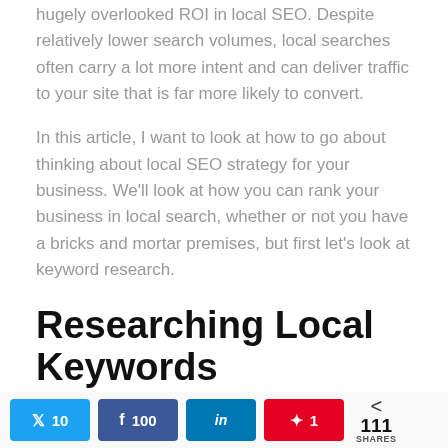hugely overlooked ROI in local SEO. Despite relatively lower search volumes, local searches often carry a lot more intent and can deliver traffic to your site that is far more likely to convert.
In this article, I want to look at how to go about thinking about local SEO strategy for your business. We'll look at how you can rank your business in local search, whether or not you have a bricks and mortar premises, but first let's look at keyword research.
Researching Local Keywords
Be sure to research what your competitors are doing first and foremost. How are they targeting the
[Figure (infographic): Social share bar with Twitter (10), Facebook (100), LinkedIn, Pinterest (1) buttons and total 111 SHARES]